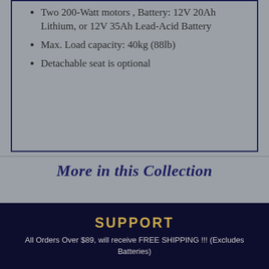Two 200-Watt motors , Battery: 12V 20Ah Lithium, or 12V 35Ah Lead-Acid Battery
Max. Load capacity: 40kg (88lb)
Detachable seat is optional
More in this Collection
SUPPORT
All Orders Over $89, will receive FREE SHIPPING !!! (Excludes Batteries)